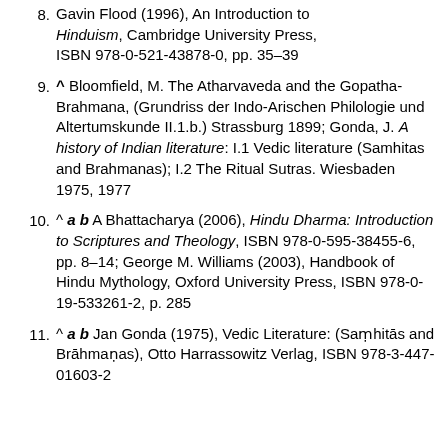Gavin Flood (1996), An Introduction to Hinduism, Cambridge University Press, ISBN 978-0-521-43878-0, pp. 35–39
9. ^ Bloomfield, M. The Atharvaveda and the Gopatha-Brahmana, (Grundriss der Indo-Arischen Philologie und Altertumskunde II.1.b.) Strassburg 1899; Gonda, J. A history of Indian literature: I.1 Vedic literature (Samhitas and Brahmanas); I.2 The Ritual Sutras. Wiesbaden 1975, 1977
10. ^ a b A Bhattacharya (2006), Hindu Dharma: Introduction to Scriptures and Theology, ISBN 978-0-595-38455-6, pp. 8–14; George M. Williams (2003), Handbook of Hindu Mythology, Oxford University Press, ISBN 978-0-19-533261-2, p. 285
11. ^ a b Jan Gonda (1975), Vedic Literature: (Saṃhitās and Brāhmaṇas), Otto Harrassowitz Verlag, ISBN 978-3-447-01603-2